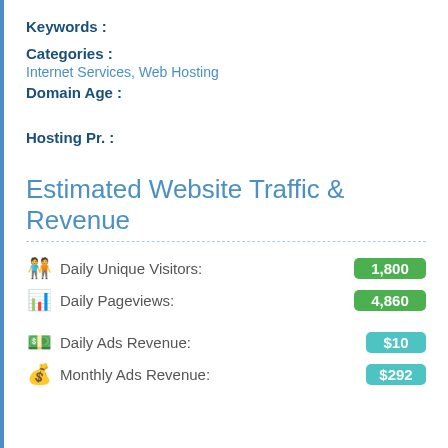Keywords :
Categories :
Internet Services, Web Hosting
Domain Age :
Hosting Pr. :
Estimated Website Traffic & Revenue
Daily Unique Visitors: 1,800
Daily Pageviews: 4,860
Daily Ads Revenue: $10
Monthly Ads Revenue: $292